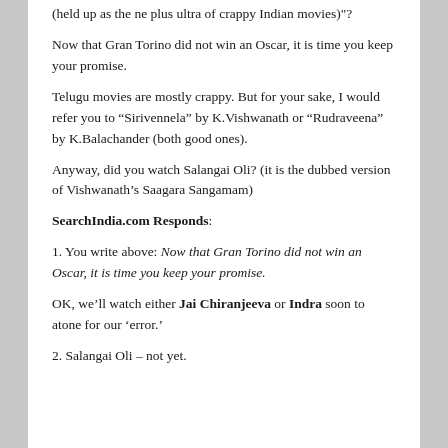(held up as the ne plus ultra of crappy Indian movies)"?
Now that Gran Torino did not win an Oscar, it is time you keep your promise.
Telugu movies are mostly crappy. But for your sake, I would refer you to “Sirivennela” by K.Vishwanath or “Rudraveena” by K.Balachander (both good ones).
Anyway, did you watch Salangai Oli? (it is the dubbed version of Vishwanath’s Saagara Sangamam)
SearchIndia.com Responds:
1. You write above: Now that Gran Torino did not win an Oscar, it is time you keep your promise.
OK, we’ll watch either Jai Chiranjeeva or Indra soon to atone for our ‘error.’
2. Salangai Oli – not yet.